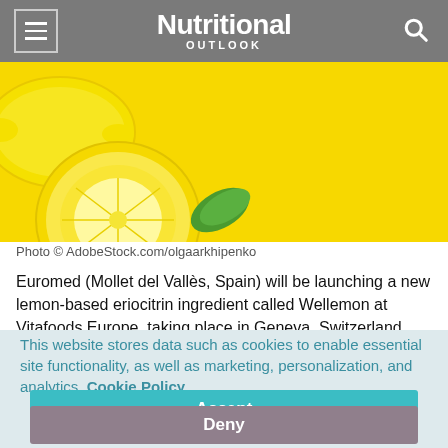Nutritional OUTLOOK
[Figure (photo): Lemons on a bright yellow background — a whole lemon, a halved lemon, and a green leaf visible.]
Photo © AdobeStock.com/olgaarkhipenko
Euromed (Mollet del Vallès, Spain) will be launching a new lemon-based eriocitrin ingredient called Wellemon at Vitafoods Europe, taking place in Geneva, Switzerland between October 5-7, 2021. A
This website stores data such as cookies to enable essential site functionality, as well as marketing, personalization, and analytics. Cookie Policy
Accept
Deny